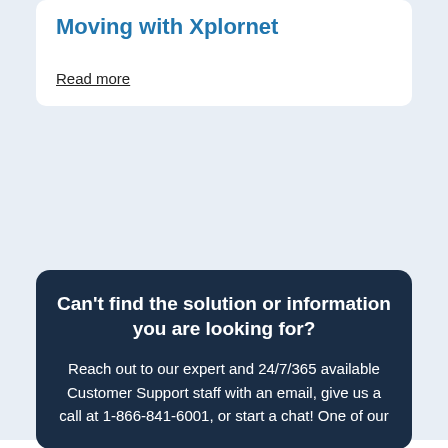Moving with Xplornet
Read more
Can't find the solution or information you are looking for?
Reach out to our expert and 24/7/365 available Customer Support staff with an email, give us a call at 1-866-841-6001, or start a chat! One of our